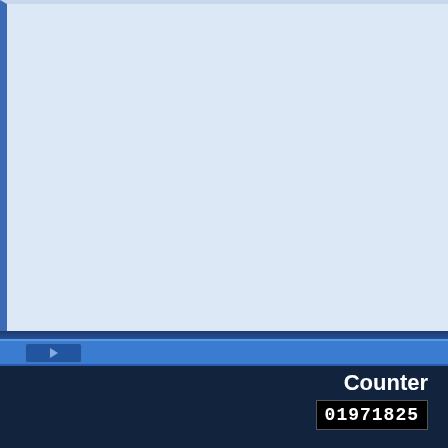[Figure (screenshot): Screenshot of a document viewer or presentation software showing a blank/empty light blue page area with blue border on the left side, a dark blue bezel bar, a blue navigation strip with a forward arrow button, and a dark bottom panel displaying 'Counter' label and '01971825' counter value in a black digital readout box.]
Counter
01971825